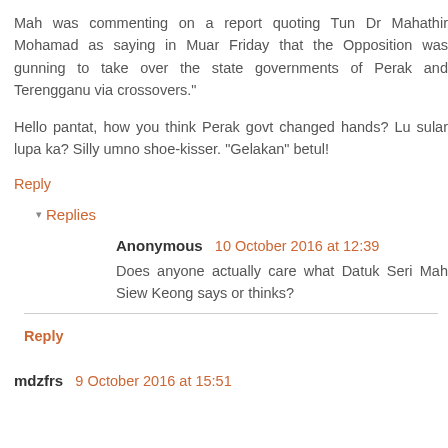Mah was commenting on a report quoting Tun Dr Mahathir Mohamad as saying in Muar Friday that the Opposition was gunning to take over the state governments of Perak and Terengganu via crossovers."
Hello pantat, how you think Perak govt changed hands? Lu sular lupa ka? Silly umno shoe-kisser. "Gelakan" betul!
Reply
Replies
Anonymous 10 October 2016 at 12:39
Does anyone actually care what Datuk Seri Mah Siew Keong says or thinks?
Reply
mdzfrs 9 October 2016 at 15:51